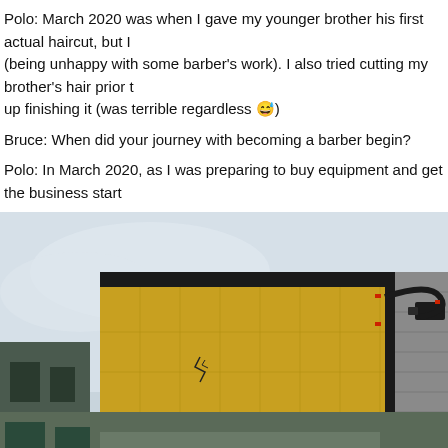Polo: March 2020 was when I gave my younger brother his first actual haircut, but I (being unhappy with some barber's work). I also tried cutting my brother's hair prior to up finishing it (was terrible regardless 😅)
Bruce: When did your journey with becoming a barber begin?
Polo: In March 2020, as I was preparing to buy equipment and get the business start
[Figure (photo): Exterior photo of a building with yellow/gold insulation panels on the upper portion, grey brick/concrete block on the sides, a black drainpipe, and some external equipment/cables. Sky is overcast. Bottom of image shows the top of a person's head with dark hair.]